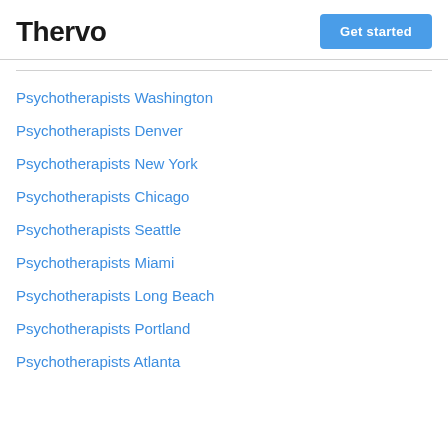Thervo | Get started
Psychotherapists Washington
Psychotherapists Denver
Psychotherapists New York
Psychotherapists Chicago
Psychotherapists Seattle
Psychotherapists Miami
Psychotherapists Long Beach
Psychotherapists Portland
Psychotherapists Atlanta